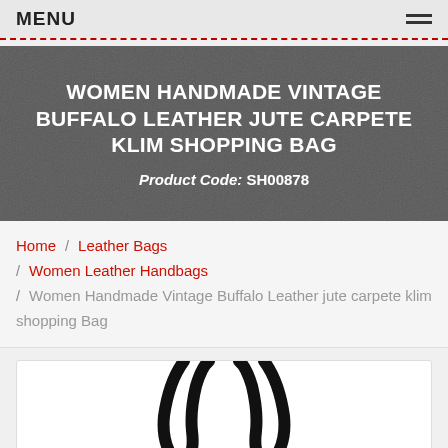MENU
WOMEN HANDMADE VINTAGE BUFFALO LEATHER JUTE CARPETE KLIM SHOPPING BAG
Product Code: SH00878
Home / Leather Bags / Women Leather Handbags / Women Handmade Vintage Buffalo Leather jute carpete klim shopping Bag
[Figure (photo): Product photo showing black leather bag handles against white background]